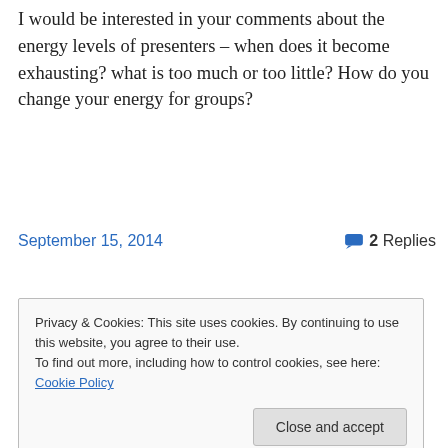I would be interested in your comments about the energy levels of presenters – when does it become exhausting? what is too much or too little? How do you change your energy for groups?
September 15, 2014    2 Replies
Privacy & Cookies: This site uses cookies. By continuing to use this website, you agree to their use.
To find out more, including how to control cookies, see here: Cookie Policy